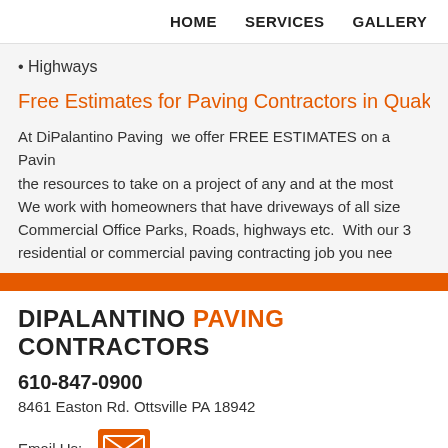HOME   SERVICES   GALLERY   CONT
• Highways
Free Estimates for Paving Contractors in Quakert
At DiPalantino Paving we offer FREE ESTIMATES on a Paving... the resources to take on a project of any and at the most... We work with homeowners that have driveways of all size... Commercial Office Parks, Roads, highways etc. With our 3... residential or commercial paving contracting job you nee... for a FREE, no obligation estimate for your paving contrac...
DIPALANTINO PAVING CONTRACTORS
610-847-0900
8461 Easton Rd. Ottsville PA 18942
Email Us:
DiPalantino Paving Contractors All Rights Reserved